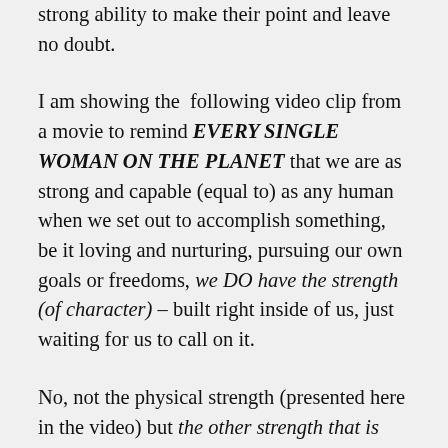strong ability to make their point and leave no doubt.
I am showing the  following video clip from a movie to remind EVERY SINGLE WOMAN ON THE PLANET that we are as strong and capable (equal to) as any human when we set out to accomplish something, be it loving and nurturing, pursuing our own goals or freedoms, we DO have the strength (of character) – built right inside of us, just waiting for us to call on it.
No, not the physical strength (presented here in the video) but the other strength that is also shown here. The one of character and will – perseverance and determination! We all (humans) have that in abundance (just waiting to be tapped